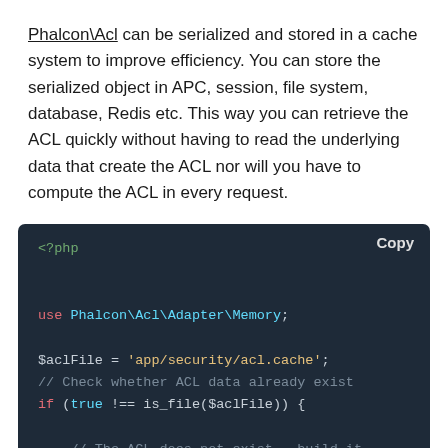Phalcon\Acl can be serialized and stored in a cache system to improve efficiency. You can store the serialized object in APC, session, file system, database, Redis etc. This way you can retrieve the ACL quickly without having to read the underlying data that create the ACL nor will you have to compute the ACL in every request.
[Figure (screenshot): PHP code block on dark background showing use of Phalcon\Acl\Adapter\Memory, file check for acl.cache, and initialization of $acl = new Memory(). Includes comments and a Copy button.]